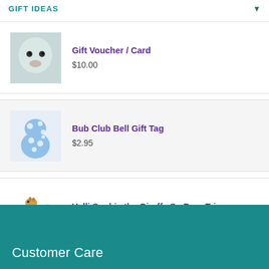GIFT IDEAS
Gift Voucher / Card
$10.00
Bub Club Bell Gift Tag
$2.95
Vulli Sophie the Giraffe So Pure Trio
$59.95
Customer Care